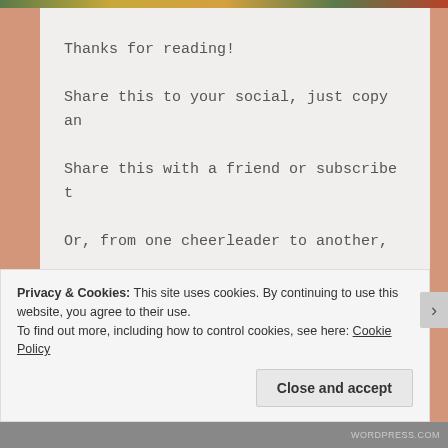[Figure (other): Top decorative image strip with green, gold, and red colors]
Thanks for reading!

Share this to your social, just copy an

Share this with a friend or subscribe t

Or, from one cheerleader to another,

Or one passionate person to another, fo
Love, Carly
Privacy & Cookies: This site uses cookies. By continuing to use this website, you agree to their use.
To find out more, including how to control cookies, see here: Cookie Policy
Close and accept